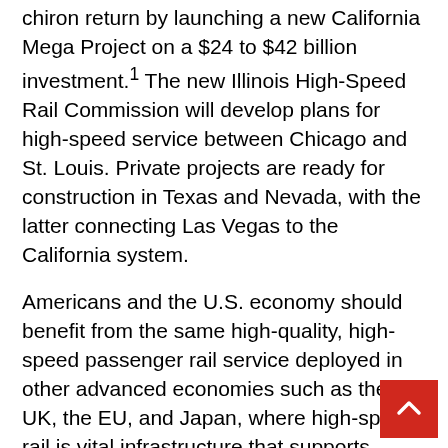chiron return by launching a new California Mega Project on a $24 to $42 billion investment.1 The new Illinois High-Speed Rail Commission will develop plans for high-speed service between Chicago and St. Louis. Private projects are ready for construction in Texas and Nevada, with the latter connecting Las Vegas to the California system.
Americans and the U.S. economy should benefit from the same high-quality, high-speed passenger rail service deployed in other advanced economies such as the UK, the EU, and Japan, where high-speed rail is vital infrastructure that supports commerce, quality of life, and environmental sustainability. In recent years, China has made massive and rapid investments in its own high-speed rail infrastructure. For decades, the